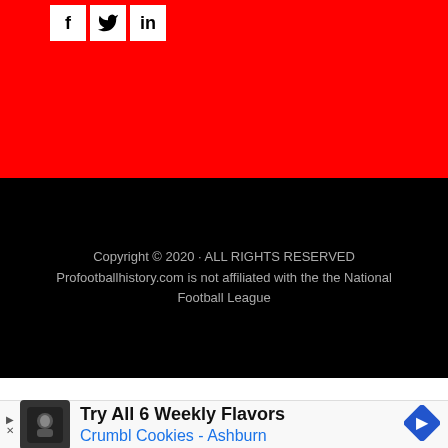[Figure (other): Social media icons row: Facebook (f), Twitter (bird), LinkedIn (in) on red background]
Copyright © 2020 · ALL RIGHTS RESERVED
Profootballhistory.com is not affiliated with the the National Football League
AN ELITE CAFEMEDIA PUBLISHER
[Figure (other): Advertisement banner: Try All 6 Weekly Flavors - Crumbl Cookies - Ashburn]